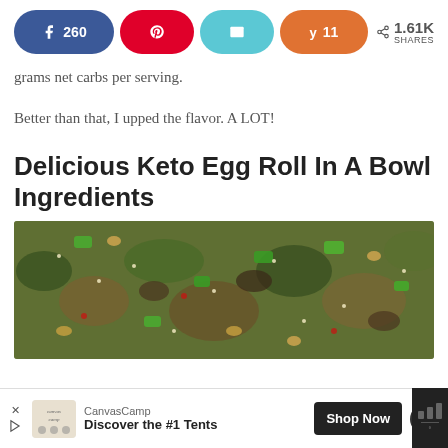[Figure (infographic): Social share buttons: Facebook (260), Pinterest, Email, Yummly (11), and share count 1.61K SHARES]
grams net carbs per serving.
Better than that, I upped the flavor. A LOT!
Delicious Keto Egg Roll In A Bowl Ingredients
[Figure (photo): Close-up photo of keto egg roll in a bowl showing ground meat, chopped green onions, shredded cabbage, sesame seeds, and crushed peanuts]
[Figure (other): Advertisement banner: CanvasCamp - Discover the #1 Tents - Shop Now button]